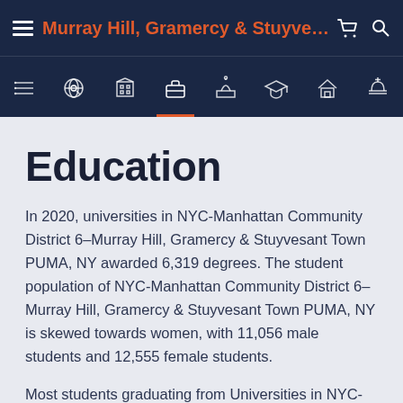Murray Hill, Gramercy & Stuyvesant Town ...
Education
In 2020, universities in NYC-Manhattan Community District 6–Murray Hill, Gramercy & Stuyvesant Town PUMA, NY awarded 6,319 degrees. The student population of NYC-Manhattan Community District 6–Murray Hill, Gramercy & Stuyvesant Town PUMA, NY is skewed towards women, with 11,056 male students and 12,555 female students.
Most students graduating from Universities in NYC-Manhattan Community District 6–Murray Hill,